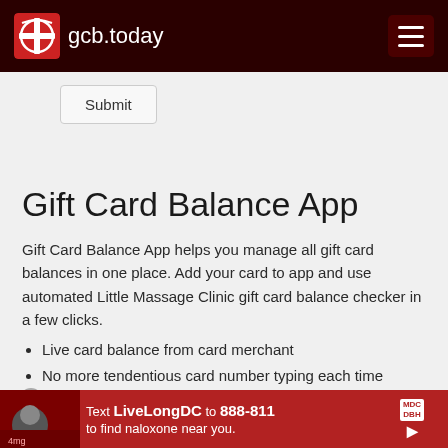gcb.today
Submit
Gift Card Balance App
Gift Card Balance App helps you manage all gift card balances in one place. Add your card to app and use automated Little Massage Clinic gift card balance checker in a few clicks.
Live card balance from card merchant
No more tendentious card number typing each time
Balance query options at one glance
GCB App | Manages Balance
Text LiveLongDC to 888-811 to find naloxone near you.